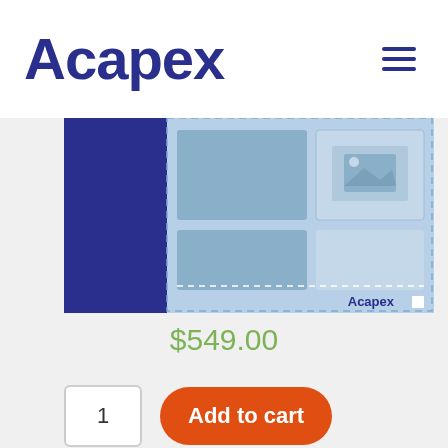Acapex
[Figure (screenshot): Facebook page template preview showing a blue sidebar with rotated FACEBO text and a light blue content area with placeholder image blocks and Acapex watermark]
$549.00
1
Add to cart